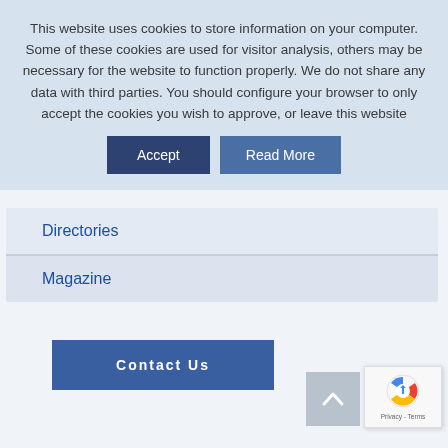This website uses cookies to store information on your computer. Some of these cookies are used for visitor analysis, others may be necessary for the website to function properly. We do not share any data with third parties. You should configure your browser to only accept the cookies you wish to approve, or leave this website
Accept
Read More
Directories
Magazine
Contact Us
[Figure (other): Scroll to top arrow button (chevron up on grey background)]
[Figure (other): reCAPTCHA badge widget with Google logo and Privacy - Terms text]